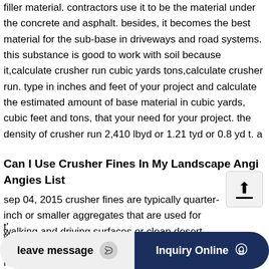filler material. contractors use it to be the material under the concrete and asphalt. besides, it becomes the best material for the sub-base in driveways and road systems. this substance is good to work with soil because it,calculate crusher run cubic yards tons,calculate crusher run. type in inches and feet of your project and calculate the estimated amount of base material in cubic yards, cubic feet and tons, that your need for your project. the density of crusher run 2,410 lbyd or 1.21 tyd or 0.8 yd t. a
Can I Use Crusher Fines In My Landscape Angi Angies List
sep 04, 2015 crusher fines are typically quarter-inch or smaller aggregates that are used for walking and driving surfaces or clean desert areas where a very minimalist design is required.
[Figure (other): Upload/share button icon with upward arrow and horizontal line, displayed in a light gray rounded square box]
leave message   Inquiry Online